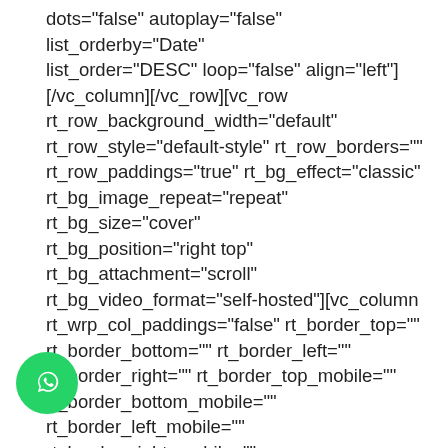dots="false" autoplay="false" list_orderby="Date" list_order="DESC" loop="false" align="left"] [/vc_column][/vc_row][vc_row rt_row_background_width="default" rt_row_style="default-style" rt_row_borders="" rt_row_paddings="true" rt_bg_effect="classic" rt_bg_image_repeat="repeat" rt_bg_size="cover" rt_bg_position="right top" rt_bg_attachment="scroll" rt_bg_video_format="self-hosted"][vc_column rt_wrp_col_paddings="false" rt_border_top="" rt_border_bottom="" rt_border_left="" rt_border_right="" rt_border_top_mobile="" rt_border_bottom_mobile="" rt_border_left_mobile="" rt_border_right_mobile="" rt_bg_image_repeat="repeat" rt_bg_size="auto auto" rt_bg_position="right top" rt_bg_attachment="scroll"] [vc_single_image image="4513" img_size="full" alignment="center" style="vc_box_border" er_color="green" onclick="custom_link" _link_target="_blank" title="ABBIAMO UN VANTO: il tasso di mortalità in fase di attecchimento pari a
[Figure (logo): WhatsApp floating button (green circle with white WhatsApp icon) in the bottom-left corner]